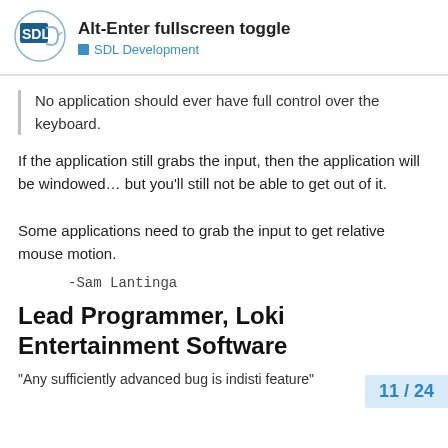Alt-Enter fullscreen toggle — SDL Development
No application should ever have full control over the keyboard.
If the application still grabs the input, then the application will
be windowed… but you'll still not be able to get out of it.

Some applications need to grab the input to get relative mouse motion.
-Sam Lantinga
Lead Programmer, Loki Entertainment Software
“Any sufficiently advanced bug is indisti feature”
11 / 24